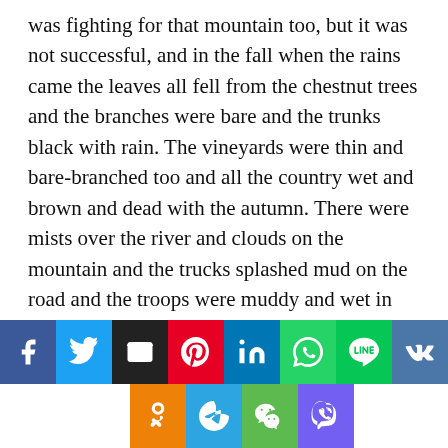was fighting for that mountain too, but it was not successful, and in the fall when the rains came the leaves all fell from the chestnut trees and the branches were bare and the trunks black with rain. The vineyards were thin and bare-branched too and all the country wet and brown and dead with the autumn. There were mists over the river and clouds on the mountain and the trucks splashed mud on the road and the troops were muddy and wet in their capes; their rifles were wet and under their capes the two leather cartridge-boxes on the front of the belts, gray leather boxes heavy with the packs of clips of thin, long 6.5 mm. cartridges,
[Figure (infographic): Social sharing buttons row 1: Facebook, Twitter, Email, Pinterest, LinkedIn, WhatsApp, LINE, VK. Row 2: Odnoklassniki, Telegram, WeChat, Viber.]